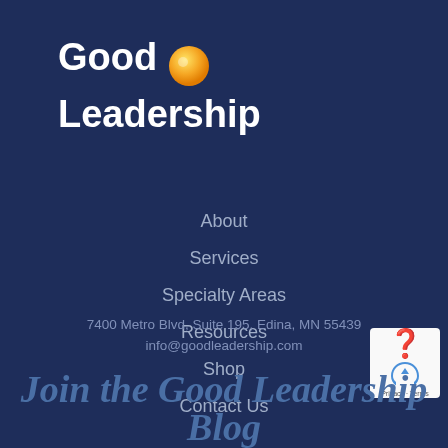[Figure (logo): Good Leadership logo with sun icon — white bold text 'Good Leadership' with a yellow sun/gold circle graphic to the right of 'Good']
About
Services
Specialty Areas
Resources
Shop
Contact Us
7400 Metro Blvd, Suite 195, Edina, MN 55439
info@goodleadership.com
Join the Good Leadership Blog